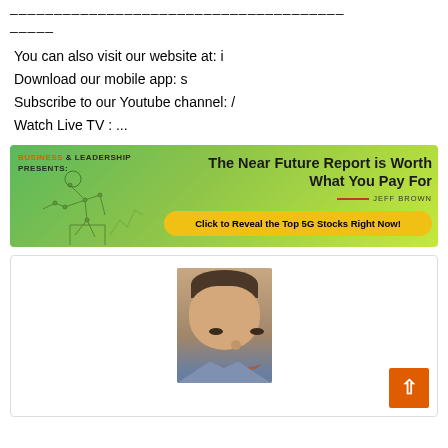——————————————————————————————————————————
You can also visit our website at: i
Download our mobile app: s
Subscribe to our Youtube channel: /
Watch Live TV : ...
[Figure (illustration): Advertisement banner for 'Business & Leadership Presents: The Near Future Report is Worth What You Pay For' by Jeff Brown, with a button 'Click to Reveal the Top 5G Stocks Right Now!' on a green background with a geometric figure illustration.]
[Figure (photo): Headshot photo of a smiling man in a suit, centered in a white bordered box. An orange scroll-to-top button with an up arrow is in the bottom right corner.]